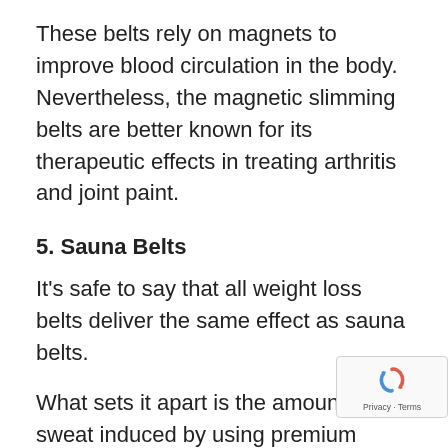These belts rely on magnets to improve blood circulation in the body. Nevertheless, the magnetic slimming belts are better known for its therapeutic effects in treating arthritis and joint paint.
5. Sauna Belts
It's safe to say that all weight loss belts deliver the same effect as sauna belts.
What sets it apart is the amount of sweat induced by using premium material to evoke intense thermogenesis.
As a result, core temperature rises significantly once the sauna belt is wrapped around the abdomen. In return, helps to tone the midsection and aid in w... loss.